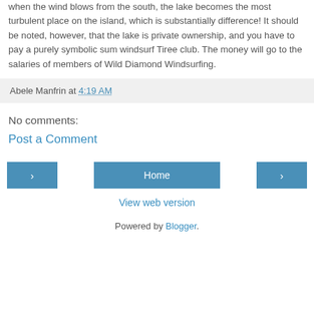when the wind blows from the south, the lake becomes the most turbulent place on the island, which is substantially difference! It should be noted, however, that the lake is private ownership, and you have to pay a purely symbolic sum windsurf Tiree club. The money will go to the salaries of members of Wild Diamond Windsurfing.
Abele Manfrin at 4:19 AM
No comments:
Post a Comment
Home
View web version
Powered by Blogger.